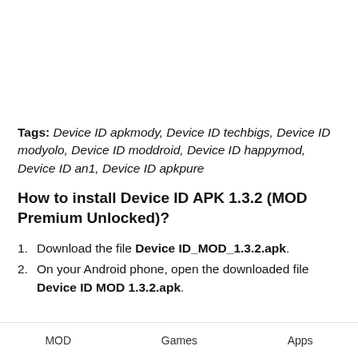Tags: Device ID apkmody, Device ID techbigs, Device ID modyolo, Device ID moddroid, Device ID happymod, Device ID an1, Device ID apkpure
How to install Device ID APK 1.3.2 (MOD Premium Unlocked)?
Download the file Device ID_MOD_1.3.2.apk.
On your Android phone, open the downloaded file Device ID MOD 1.3.2.apk.
MOD   Games   Apps